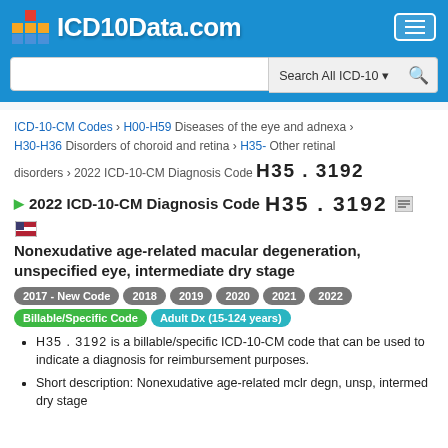[Figure (logo): ICD10Data.com logo with colorful block icon on blue header background]
ICD-10-CM Codes › H00-H59 Diseases of the eye and adnexa › H30-H36 Disorders of choroid and retina › H35- Other retinal disorders › 2022 ICD-10-CM Diagnosis Code H35.3192
2022 ICD-10-CM Diagnosis Code H35.3192
Nonexudative age-related macular degeneration, unspecified eye, intermediate dry stage
2017 - New Code  2018  2019  2020  2021  2022  Billable/Specific Code  Adult Dx (15-124 years)
H35.3192 is a billable/specific ICD-10-CM code that can be used to indicate a diagnosis for reimbursement purposes.
Short description: Nonexudative age-related mclr degn, unsp, intermed dry stage
The 2022 edition of H35 10 CM H35.3192 became...